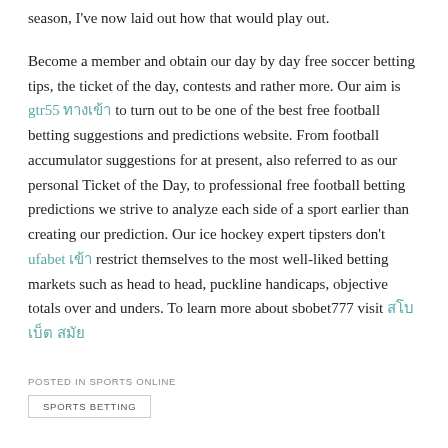season, I've now laid out how that would play out.
Become a member and obtain our day by day free soccer betting tips, the ticket of the day, contests and rather more. Our aim is gtr55 ทางเข้า to turn out to be one of the best free football betting suggestions and predictions website. From football accumulator suggestions for at present, also referred to as our personal Ticket of the Day, to professional free football betting predictions we strive to analyze each side of a sport earlier than creating our prediction. Our ice hockey expert tipsters don't ufabet เข้า restrict themselves to the most well-liked betting markets such as head to head, puckline handicaps, objective totals over and unders. To learn more about sbobet777 visit สโบ เบ็ต สมัย
POSTED IN SPORTS ONLINE
SPORTS BETTING